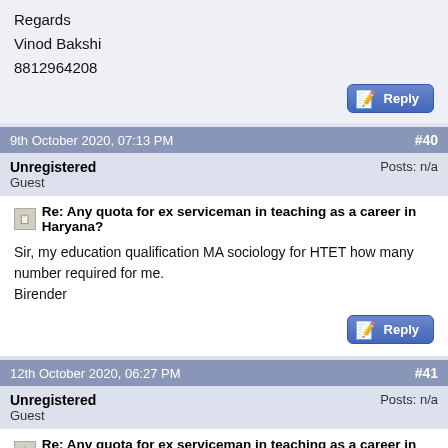Regards
Vinod Bakshi
8812964208
[Figure (other): Reply button with pencil/notepad icon]
9th October 2020, 07:13 PM   #40
Unregistered
Guest
Posts: n/a
Re: Any quota for ex serviceman in teaching as a career in Haryana?
Sir, my education qualification MA sociology for HTET how many number required for me.
Birender
[Figure (other): Reply button with pencil/notepad icon]
12th October 2020, 06:27 PM   #41
Unregistered
Guest
Posts: n/a
Re: Any quota for ex serviceman in teaching as a career in Haryana?
Dear sir/madam is it complossary to give HTET for teacher job for a ex-serviceman in haryana
[Figure (other): Reply button with pencil/notepad icon (partially visible)]